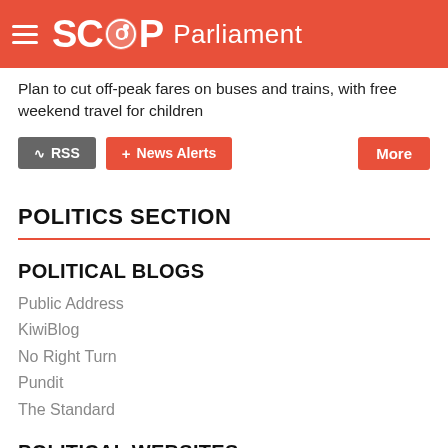SCOOP Parliament
Plan to cut off-peak fares on buses and trains, with free weekend travel for children
RSS | News Alerts | More
POLITICS SECTION
POLITICAL BLOGS
Public Address
KiwiBlog
No Right Turn
Pundit
The Standard
POLITICAL WEBSITES
NZ Parliament
NZ Government